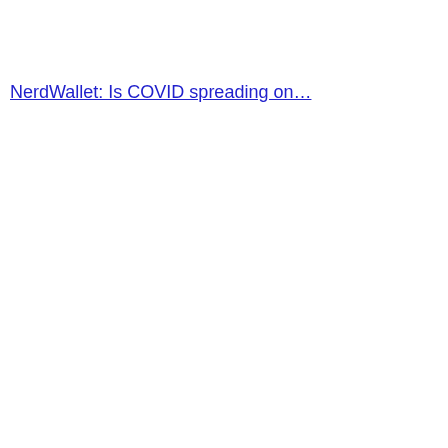NerdWallet: Is COVID spreading on…